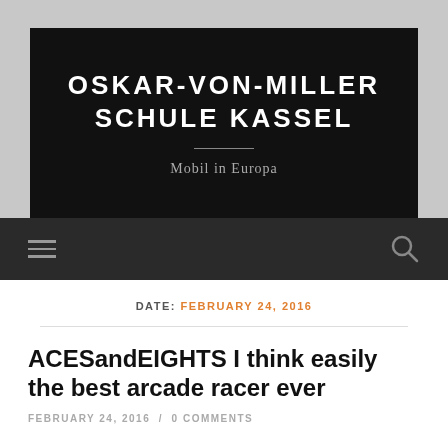OSKAR-VON-MILLER SCHULE KASSEL
Mobil in Europa
[Figure (screenshot): Navigation bar with hamburger menu icon on left and search icon on right, dark background]
DATE: FEBRUARY 24, 2016
ACESandEIGHTS I think easily the best arcade racer ever
FEBRUARY 24, 2016 / 0 COMMENTS